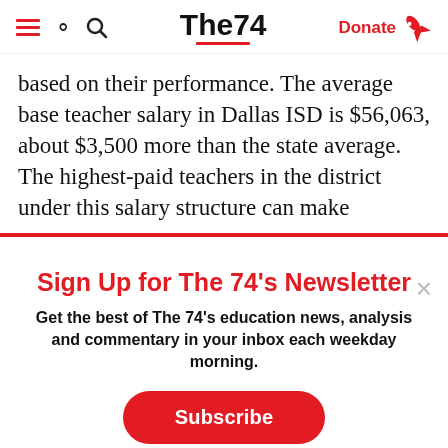The74 — Donate
based on their performance. The average base teacher salary in Dallas ISD is $56,063, about $3,500 more than the state average. The highest-paid teachers in the district under this salary structure can make
Sign Up for The 74's Newsletter
Get the best of The 74's education news, analysis and commentary in your inbox each weekday morning.
Subscribe